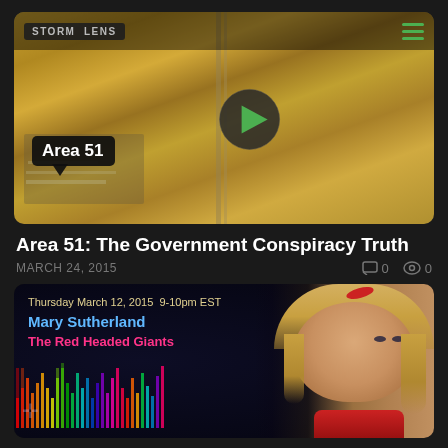[Figure (screenshot): Video thumbnail showing aerial satellite view of Area 51 with a dark map pin/badge label reading 'Area 51', a green play button circle in the center, hamburger menu icon in top right, and partial show title badge at top]
Area 51: The Government Conspiracy Truth
MARCH 24, 2015   □ 0   ◎ 0
[Figure (screenshot): Podcast/radio show thumbnail with dark background, rainbow audio waveform, text overlay reading 'Thursday March 12, 2015  9-10pm EST', 'Mary Sutherland', 'The Red Headed Giants', and photo of blonde woman in red top on right side]